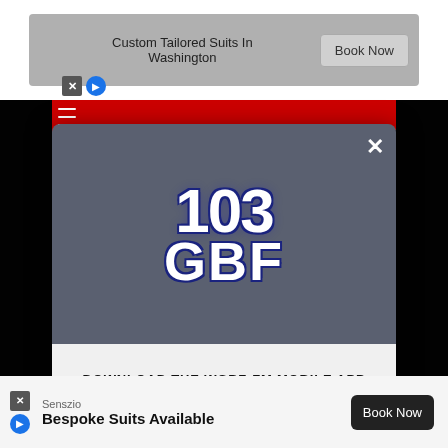[Figure (screenshot): Top advertisement banner: 'Custom Tailored Suits In Washington' with 'Book Now' button]
[Figure (screenshot): 103 GBF radio station logo in white bold text on dark blue-gray modal header]
DOWNLOAD THE WGBF-FM MOBILE APP
GET OUR FREE MOBILE APP
Also listen on: amazon alexa
[Figure (screenshot): Bottom advertisement banner: Senszio 'Bespoke Suits Available' with 'Book Now' button]